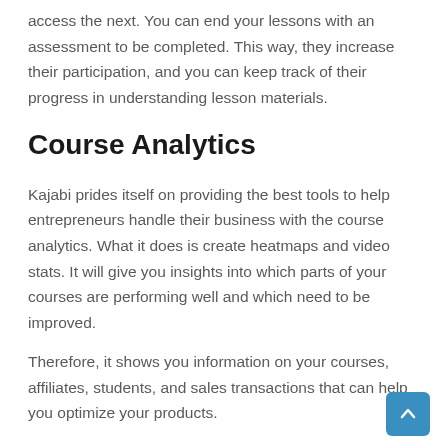access the next. You can end your lessons with an assessment to be completed. This way, they increase their participation, and you can keep track of their progress in understanding lesson materials.
Course Analytics
Kajabi prides itself on providing the best tools to help entrepreneurs handle their business with the course analytics. What it does is create heatmaps and video stats. It will give you insights into which parts of your courses are performing well and which need to be improved.
Therefore, it shows you information on your courses, affiliates, students, and sales transactions that can help you optimize your products.